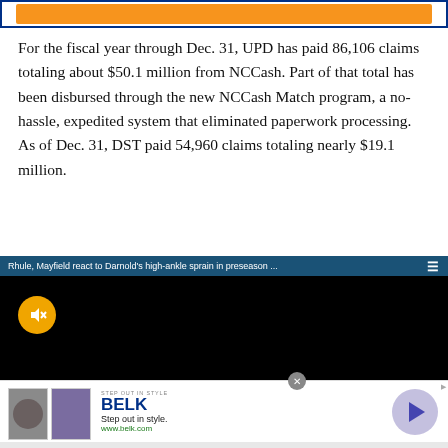[Figure (other): Orange banner with blue border at top of page]
For the fiscal year through Dec. 31, UPD has paid 86,106 claims totaling about $50.1 million from NCCash. Part of that total has been disbursed through the new NCCash Match program, a no-hassle, expedited system that eliminated paperwork processing. As of Dec. 31, DST paid 54,960 claims totaling nearly $19.1 million.
[Figure (screenshot): Embedded video player with dark teal header bar reading 'Rhule, Mayfield react to Darnold’s high-ankle sprain in preseason ...' with hamburger menu icon, black video area with orange mute button]
[Figure (other): Advertisement banner for BELK department store with 'Step Out In Style' tagline, www.belk.com URL, two product images, and a circular play/next button]